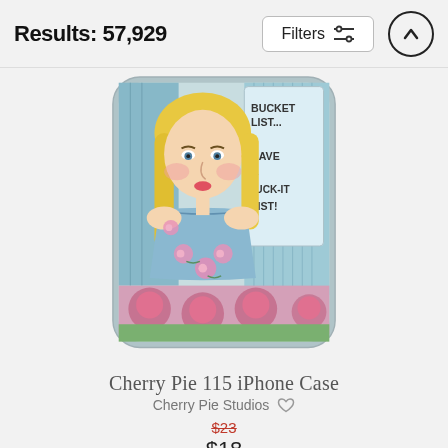Results: 57,929
[Figure (illustration): Illustrated iPhone case product showing a cartoon blonde woman in a blue strapless dress with pink flowers and text reading 'Bucket List... I Have A Fuck-It List!']
Cherry Pie 115 iPhone Case
Cherry Pie Studios ♡
$23 (strikethrough original price) $18 (sale price)